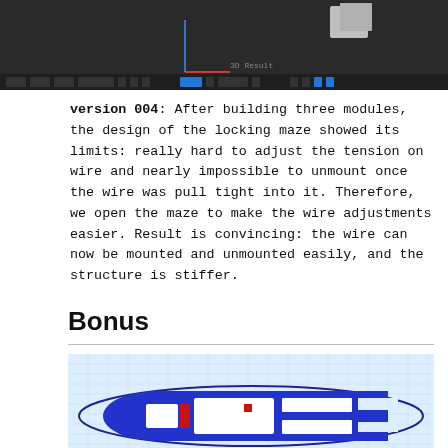[Figure (screenshot): Screenshot of a 3D modeling software (Blender) showing a gray 3D object on a dark background with toolbar UI at the bottom]
version 004: After building three modules, the design of the locking maze showed its limits: really hard to adjust the tension on wire and nearly impossible to unmount once the wire was pull tight into it. Therefore, we open the maze to make the wire adjustments easier. Result is convincing: the wire can now be mounted and unmounted easily, and the structure is stiffer.
Bonus
[Figure (screenshot): Screenshot of a 3D design/slicer software showing a blue and red interlocking maze/locking mechanism shape on a light blue grid background]